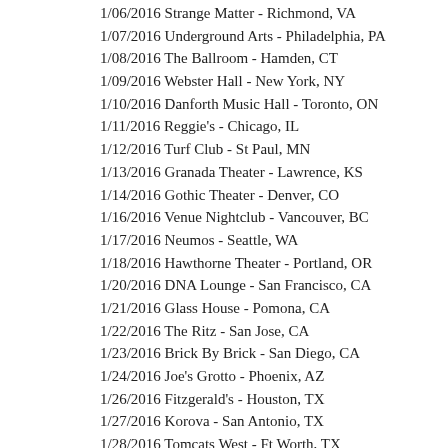1/06/2016 Strange Matter - Richmond, VA
1/07/2016 Underground Arts - Philadelphia, PA
1/08/2016 The Ballroom - Hamden, CT
1/09/2016 Webster Hall - New York, NY
1/10/2016 Danforth Music Hall - Toronto, ON
1/11/2016 Reggie's - Chicago, IL
1/12/2016 Turf Club - St Paul, MN
1/13/2016 Granada Theater - Lawrence, KS
1/14/2016 Gothic Theater - Denver, CO
1/16/2016 Venue Nightclub - Vancouver, BC
1/17/2016 Neumos - Seattle, WA
1/18/2016 Hawthorne Theater - Portland, OR
1/20/2016 DNA Lounge - San Francisco, CA
1/21/2016 Glass House - Pomona, CA
1/22/2016 The Ritz - San Jose, CA
1/23/2016 Brick By Brick - San Diego, CA
1/24/2016 Joe's Grotto - Phoenix, AZ
1/26/2016 Fitzgerald's - Houston, TX
1/27/2016 Korova - San Antonio, TX
1/28/2016 Tomcats West - Ft Worth, TX